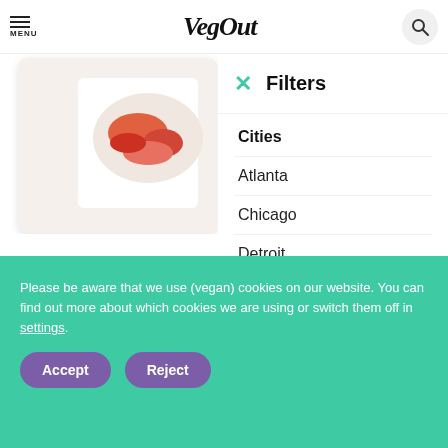MENU | VegOut | Search
[Figure (screenshot): Partial food card showing a dish with red/orange food on a white plate]
Filters
Cities
Atlanta
Chicago
Detroit
Los Angeles
Egunsi Foods
Vegan-Friendly
Please be aware that we use (vegan) cookies on our website. You can find out more about which cookies we are using or switch them off in settings.